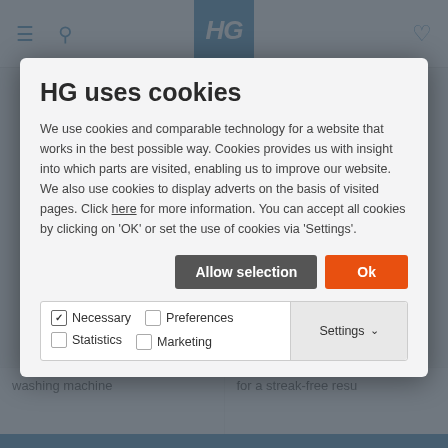[Figure (screenshot): HG website header navigation bar with hamburger menu icon, search icon, HG logo (blue background), and heart/wishlist icon]
HG uses cookies
We use cookies and comparable technology for a website that works in the best possible way. Cookies provides us with insight into which parts are visited, enabling us to improve our website. We also use cookies to display adverts on the basis of visited pages. Click here for more information. You can accept all cookies by clicking on 'OK' or set the use of cookies via 'Settings'.
Allow selection | Ok
Necessary  Preferences  Statistics  Marketing  Settings